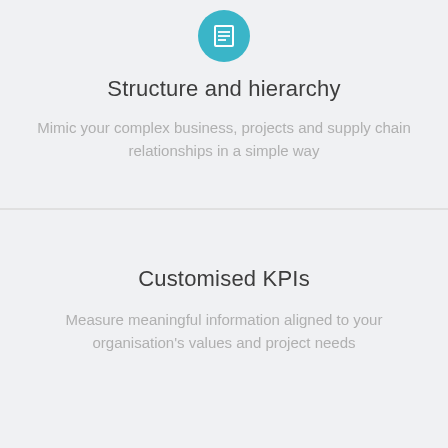[Figure (illustration): Teal/cyan circle icon with a document/hierarchy symbol inside]
Structure and hierarchy
Mimic your complex business, projects and supply chain relationships in a simple way
Customised KPIs
Measure meaningful information aligned to your organisation's values and project needs